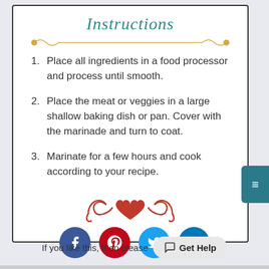Instructions
Place all ingredients in a food processor and process until smooth.
Place the meat or veggies in a large shallow baking dish or pan. Cover with the marinade and turn to coat.
Marinate for a few hours and cook according to your recipe.
[Figure (illustration): Decorative heart and scroll ornament in red]
[Figure (illustration): Four social media circular icon buttons: Facebook (blue), Pinterest (red), Twitter (cyan), LinkedIn (teal)]
If you like this, then please
Get Help